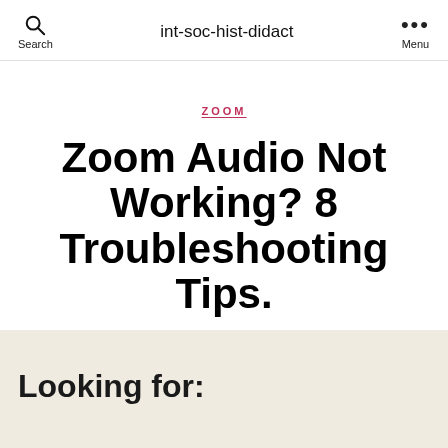int-soc-hist-didact
ZOOM
Zoom Audio Not Working? 8 Troubleshooting Tips.
By admin  June 9, 2022
Looking for: